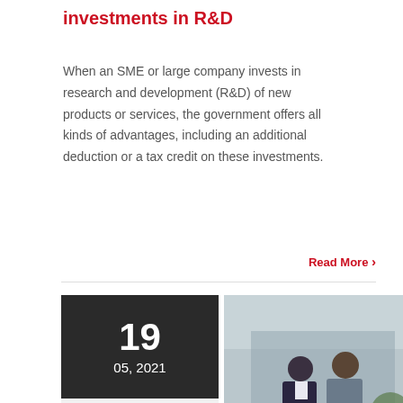investments in R&D
When an SME or large company invests in research and development (R&D) of new products or services, the government offers all kinds of advantages, including an additional deduction or a tax credit on these investments.
Read More >
[Figure (photo): Two business professionals standing outdoors in front of a modern building, wearing dark suits]
19
05, 2021